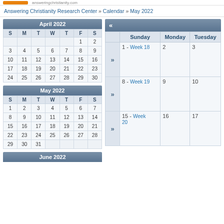Answering Christianity Research Center » Calendar » May 2022
| April 2022 |
| --- |
| S | M | T | W | T | F | S |
|  |  |  |  |  | 1 | 2 |
| 3 | 4 | 5 | 6 | 7 | 8 | 9 |
| 10 | 11 | 12 | 13 | 14 | 15 | 16 |
| 17 | 18 | 19 | 20 | 21 | 22 | 23 |
| 24 | 25 | 26 | 27 | 28 | 29 | 30 |
| May 2022 |
| --- |
| S | M | T | W | T | F | S |
| 1 | 2 | 3 | 4 | 5 | 6 | 7 |
| 8 | 9 | 10 | 11 | 12 | 13 | 14 |
| 15 | 16 | 17 | 18 | 19 | 20 | 21 |
| 22 | 23 | 24 | 25 | 26 | 27 | 28 |
| 29 | 30 | 31 |  |  |  |  |
| June 2022 |
| --- |
| « | Sunday | Monday | Tuesday |
| --- | --- | --- | --- |
| » | 1 - Week 18 | 2 | 3 |
| » | 8 - Week 19 | 9 | 10 |
| » | 15 - Week 20 | 16 | 17 |
| » | 22 - ... | 29 | 31 |